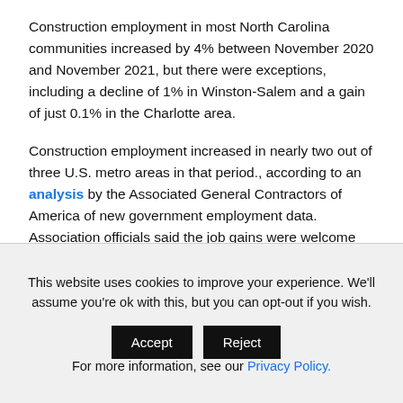Construction employment in most North Carolina communities increased by 4% between November 2020 and November 2021, but there were exceptions, including a decline of 1% in Winston-Salem and a gain of just 0.1% in the Charlotte area.
Construction employment increased in nearly two out of three U.S. metro areas in that period., according to an analysis by the Associated General Contractors of America of new government employment data. Association officials said the job gains were welcome news for the industry but cautioned that it will be difficult for construction levels to return to pre-pandemic
This website uses cookies to improve your experience. We'll assume you're ok with this, but you can opt-out if you wish. Accept Reject For more information, see our Privacy Policy.